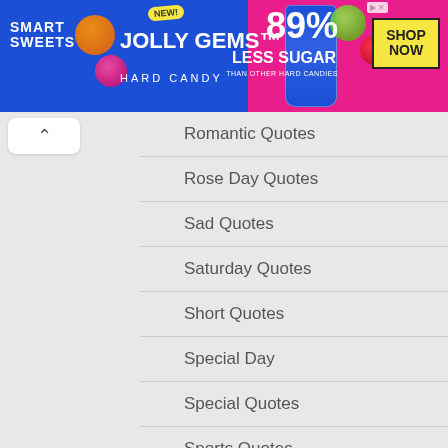[Figure (photo): SmartSweets Jolly Gems Hard Candy advertisement banner. Blue and pink background. Text: NEW! JOLLY GEMS HARD CANDY, SMART SWEETS, 89% LESS SUGAR THAN OTHER HARD CANDIES, SHOP NOW]
Romantic Quotes
Rose Day Quotes
Sad Quotes
Saturday Quotes
Short Quotes
Special Day
Special Quotes
Sports Quotes
Success Quotes
Tattos